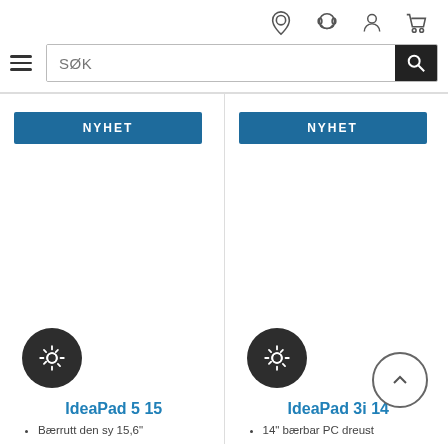[Figure (screenshot): E-commerce website header with navigation icons (location, headset, person, cart), hamburger menu, and search bar with SØK placeholder]
[Figure (screenshot): Product card for IdeaPad 5 15 with NYHET badge, gear icon, and product name in blue]
[Figure (screenshot): Product card for IdeaPad 3i 14 with NYHET badge, gear icon, scroll-up arrow, and product name in blue]